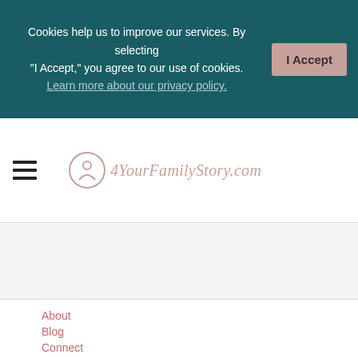Cookies help us to improve our services. By selecting "I Accept," you agree to our use of cookies. Learn more about our privacy policy.
[Figure (logo): 4YourFamilyStory.com website logo with circular emblem and script text]
About
Blog
Connect
[Figure (illustration): Family Tree Magazine Social Media Mavericks 2014 badge with social media icons]